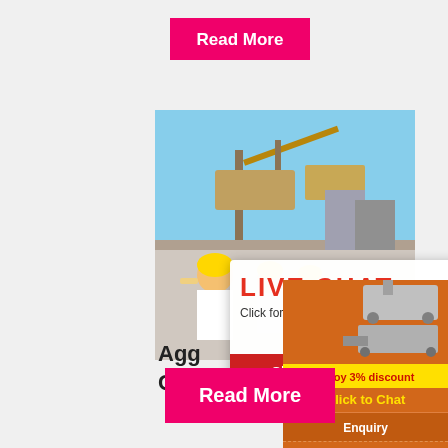[Figure (screenshot): Pink/magenta 'Read More' button at top]
[Figure (photo): Construction site photo with workers in yellow hard hats and mining equipment in the background]
[Figure (screenshot): Live chat popup overlay with 'LIVE CHAT' text in red, 'Click for a Free Consultation', and Chat now / Chat later buttons]
Agg
Con
Aggregate Production. We offer a variety
[Figure (screenshot): Orange sidebar panel with mining machine images, 'Enjoy 3% discount', 'Click to Chat' in yellow, Enquiry section, and limingjlmofen@sina.com contact]
[Figure (screenshot): Pink/magenta 'Read More' button at bottom]